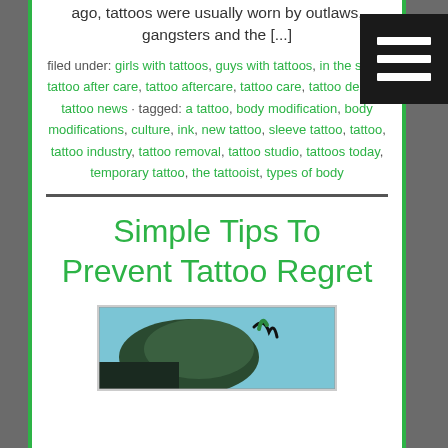ago, tattoos were usually worn by outlaws, gangsters and the [...]
filed under: girls with tattoos, guys with tattoos, in the shop, tattoo after care, tattoo aftercare, tattoo care, tattoo design, tattoo news · tagged: a tattoo, body modification, body modifications, culture, ink, new tattoo, sleeve tattoo, tattoo, tattoo industry, tattoo removal, tattoo studio, tattoos today, temporary tattoo, the tattooist, types of body
Simple Tips To Prevent Tattoo Regret
[Figure (photo): Partial view of a tattoo-related image showing dark and teal/green colors, likely depicting a person with tattoos]